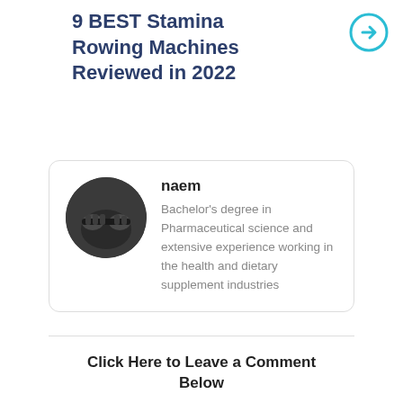9 BEST Stamina Rowing Machines Reviewed in 2022
[Figure (other): Circular arrow icon in teal/cyan color indicating a link]
[Figure (photo): Circular avatar photo of author naem showing hands gripping a rowing machine bar]
naem
Bachelor's degree in Pharmaceutical science and extensive experience working in the health and dietary supplement industries
Click Here to Leave a Comment Below